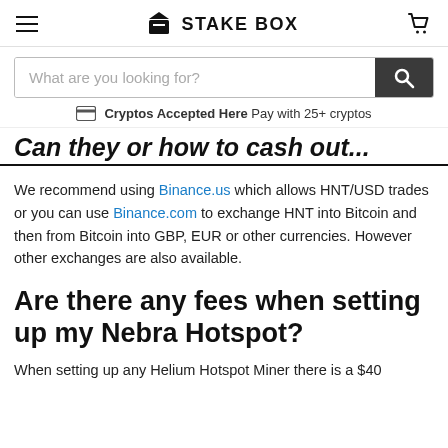STAKE BOX
[Figure (screenshot): Search bar with placeholder text 'What are you looking for?' and a dark search button with magnifying glass icon]
Cryptos Accepted Here Pay with 25+ cryptos
Can they or how to cash...
We recommend using Binance.us which allows HNT/USD trades or you can use Binance.com to exchange HNT into Bitcoin and then from Bitcoin into GBP, EUR or other currencies. However other exchanges are also available.
Are there any fees when setting up my Nebra Hotspot?
When setting up any Helium Hotspot Miner there is a $40